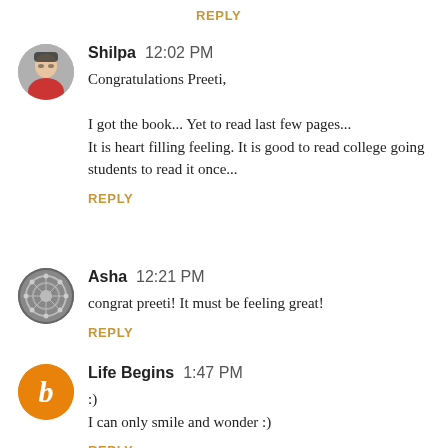REPLY
Shilpa  12:02 PM
Congratulations Preeti,

I got the book... Yet to read last few pages...
It is heart filling feeling. It is good to read college going students to read it once...
REPLY
Asha  12:21 PM
congrat preeti! It must be feeling great!
REPLY
Life Begins  1:47 PM
:)
I can only smile and wonder :)
REPLY